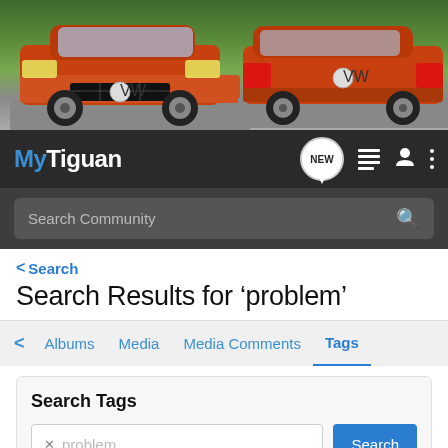[Figure (photo): Banner photo showing two orange/red Volkswagen Tiguan SUVs against a green rocky background — one facing front-left, one showing rear-right angle.]
MyTiguan — navbar with logo, NEW chat bubble, list icon, user icon, and vertical dots menu
Search Community (search bar)
< Search
Search Results for ‘problem’
< Albums   Media   Media Comments   Tags
Search Tags
× problem   Search